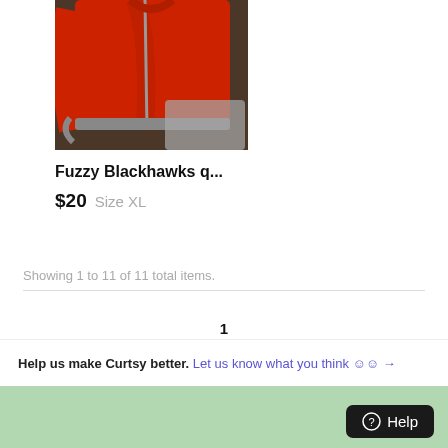[Figure (photo): Photo of a red Blackhawks quarter-zip fuzzy jacket laid on a table]
Fuzzy Blackhawks q...
$20  Size XL
Showing 1 to 11 of 11 total items.
1
Help us make Curtsy better. Let us know what you think → Help